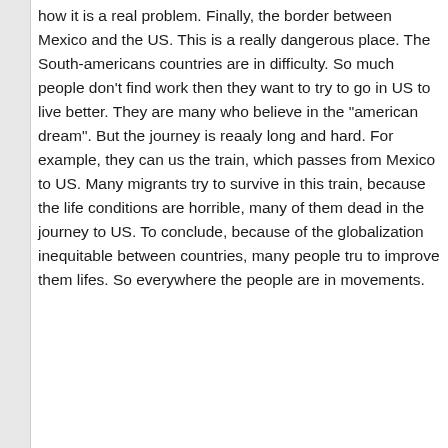how it is a real problem. Finally, the border between Mexico and the US. This is a really dangerous place. The South-americans countries are in difficulty. So much people don't find work then they want to try to go in US to live better. They are many who believe in the "american dream". But the journey is reaaly long and hard. For example, they can us the train, which passes from Mexico to US. Many migrants try to survive in this train, because the life conditions are horrible, many of them dead in the journey to US. To conclude, because of the globalization inequitable between countries, many people tru to improve them lifes. So everywhere the people are in movements.